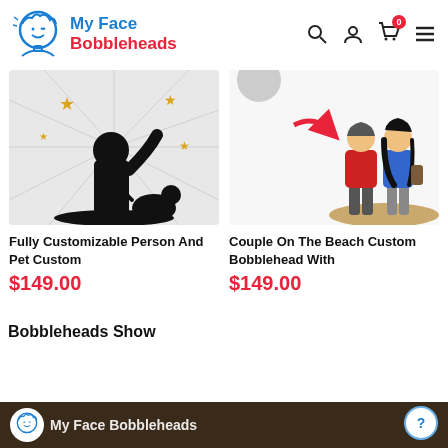My Face Bobbleheads
[Figure (photo): Black silhouette of a person and pet on a starburst background with gold stars — product image for Fully Customizable Person And Pet Custom]
Fully Customizable Person And Pet Custom
$149.00
[Figure (photo): Two custom bobblehead figurines of a couple on a beach-themed base — product image for Couple On The Beach Custom Bobblehead With]
Couple On The Beach Custom Bobblehead With
$149.00
Bobbleheads Show
My Face Bobbleheads